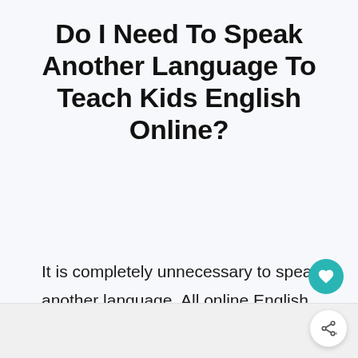Do I Need To Speak Another Language To Teach Kids English Online?
It is completely unnecessary to speak another language. All online English teaching platforms are immersive, meaning you'll only be speaking to your students in English.